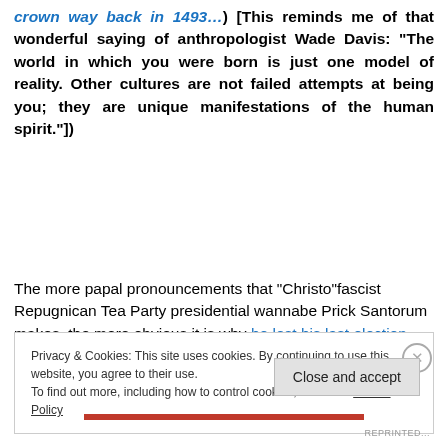crown way back in 1493…) [This reminds me of that wonderful saying of anthropologist Wade Davis: “The world in which you were born is just one model of reality. Other cultures are not failed attempts at being you; they are unique manifestations of the human spirit.”])
The more papal pronouncements that “Christo”fascist Repugnican Tea Party presidential wannabe Prick Santorum makes, the more obvious it is why he lost his last election — re-election to the U.S. Senate for
Privacy & Cookies: This site uses cookies. By continuing to use this website, you agree to their use.
To find out more, including how to control cookies, see here: Cookie Policy
Close and accept